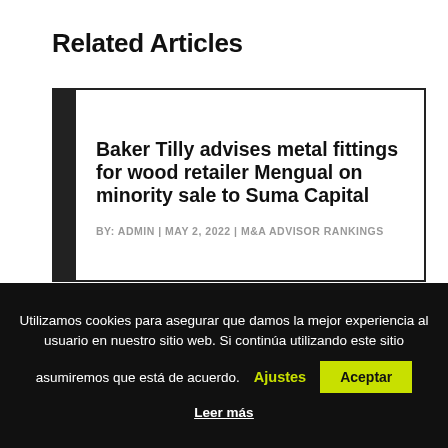Related Articles
Baker Tilly advises metal fittings for wood retailer Mengual on minority sale to Suma Capital
BY: ADMIN | MAY 2, 2022 | M&A ADVISOR RANKINGS
Utilizamos cookies para asegurar que damos la mejor experiencia al usuario en nuestro sitio web. Si continúa utilizando este sitio asumiremos que está de acuerdo.
Ajustes
Aceptar
Leer más